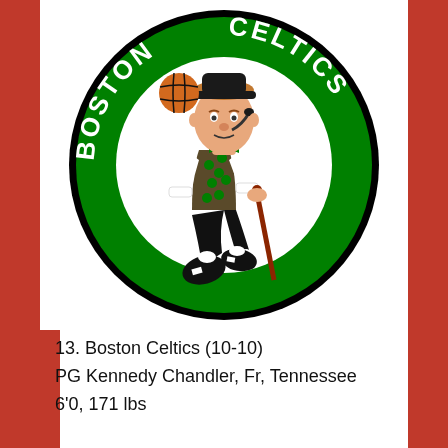[Figure (logo): Boston Celtics official NBA logo featuring Lucky the Leprechaun dribbling a basketball, wearing a green shamrock vest and bow tie, holding a cane, inside a green circle with 'BOSTON' on the left and 'CELTICS' on the right in white text.]
13. Boston Celtics (10-10)
PG Kennedy Chandler, Fr, Tennessee
6'0, 171 lbs